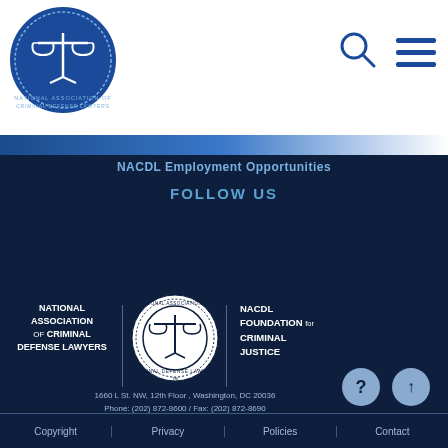[Figure (logo): NACDL circular logo with scales of justice — National Association of Criminal Defense Lawyers]
[Figure (logo): Search icon (magnifying glass) in top right area]
[Figure (logo): Hamburger menu icon in top right area]
NACDL Employment Opportunities
FOLLOW US
[Figure (infographic): Social media icons: Facebook, LinkedIn, Twitter, Unigo, Instagram, YouTube]
[Figure (logo): NACDL circular seal logo — National Association of Criminal Defense Lawyers]
NATIONAL ASSOCIATION OF CRIMINAL DEFENSE LAWYERS
NACDL FOUNDATION FOR CRIMINAL JUSTICE
1660 L St. NW, 12th Floor , Washington, DC 20036
Phone: (202) 872-8600 / Fax: (202) 872-8690
Copyright | Privacy | Policies | Contact